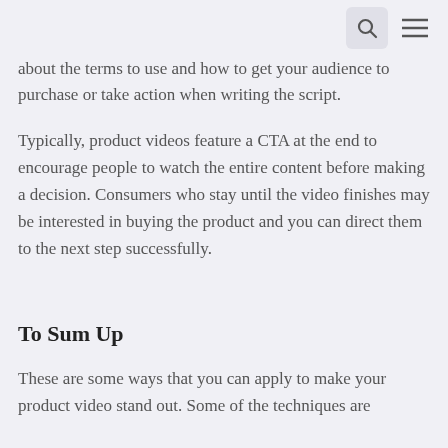[search icon] [menu icon]
about the terms to use and how to get your audience to purchase or take action when writing the script.
Typically, product videos feature a CTA at the end to encourage people to watch the entire content before making a decision. Consumers who stay until the video finishes may be interested in buying the product and you can direct them to the next step successfully.
To Sum Up
These are some ways that you can apply to make your product video stand out. Some of the techniques are